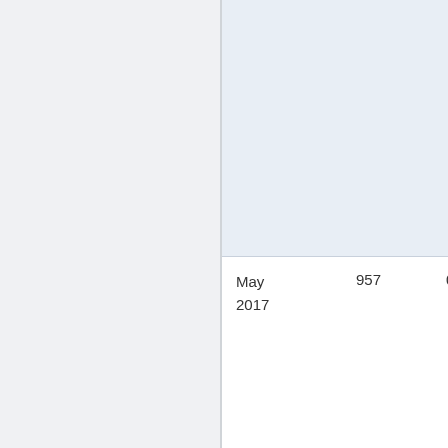| Date | Value1 | Value2 |
| --- | --- | --- |
|  |  |  |
| May 2017 | 957 | 0 |
| Apr 2017 | 1740 | 0 |